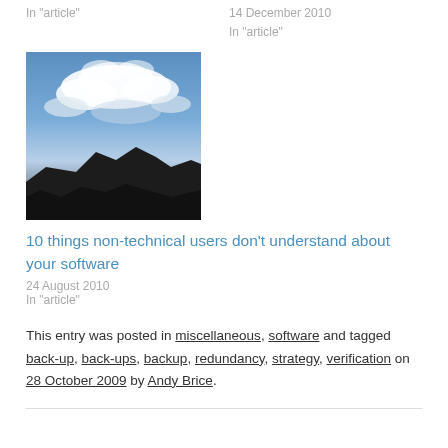In "article"
14 December 2010
In "article"
[Figure (photo): Landscape photo of mountains with dramatic cloudy blue sky above silhouetted mountain ridges]
10 things non-technical users don't understand about your software
24 August 2010
In "article"
This entry was posted in miscellaneous, software and tagged back-up, back-ups, backup, redundancy, strategy, verification on 28 October 2009 by Andy Brice.